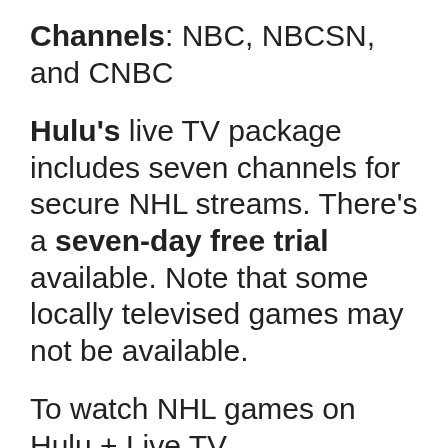Channels: NBC, NBCSN, and CNBC
Hulu's live TV package includes seven channels for secure NHL streams. There's a seven-day free trial available. Note that some locally televised games may not be available.
To watch NHL games on Hulu + Live TV.
1. Choose ExpressVPN any